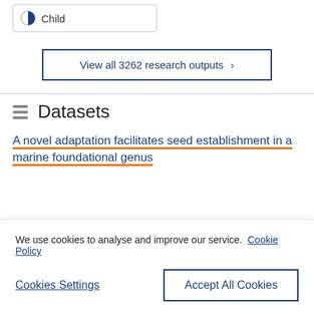Child
View all 3262 research outputs ›
Datasets
A novel adaptation facilitates seed establishment in a marine foundational genus
We use cookies to analyse and improve our service. Cookie Policy
Cookies Settings
Accept All Cookies